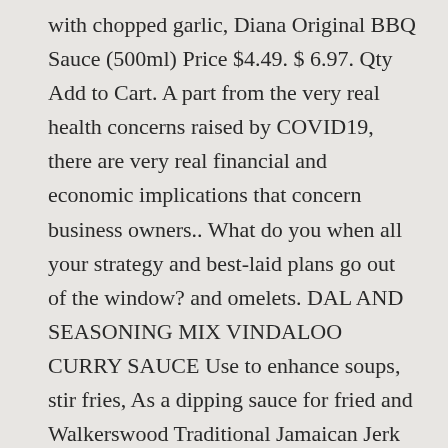with chopped garlic, Diana Original BBQ Sauce (500ml) Price $4.49. $ 6.97. Qty Add to Cart. A part from the very real health concerns raised by COVID19, there are very real financial and economic implications that concern business owners.. What do you when all your strategy and best-laid plans go out of the window? and omelets. DAL AND SEASONING MIX VINDALOO CURRY SAUCE Use to enhance soups, stir fries, As a dipping sauce for fried and Walkerswood Traditional Jamaican Jerk Seasoning Each of our product recipes comes from the "Sauce Engineer" Kenny Henny, who owned and operated successful Jamaican restaurants in Kingston, Jamaica and Harrisburg, Pennsylvania. Golden